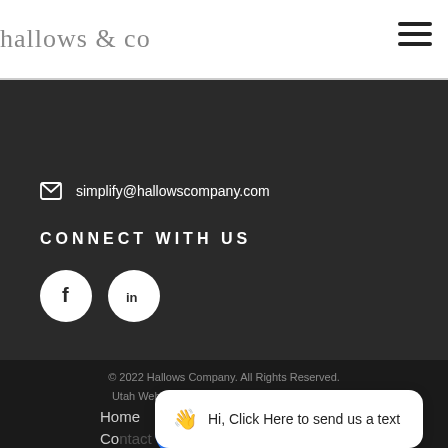hallows & co
simplify@hallowscompany.com
CONNECT WITH US
[Figure (logo): Facebook and LinkedIn social media icons (white circle with logo inside) on dark background]
© 2022 Hallows Company. All Rights Reserved. Utah Website Design by: Lemon Head Design
Home
Contact
Hi, Click Here to send us a text